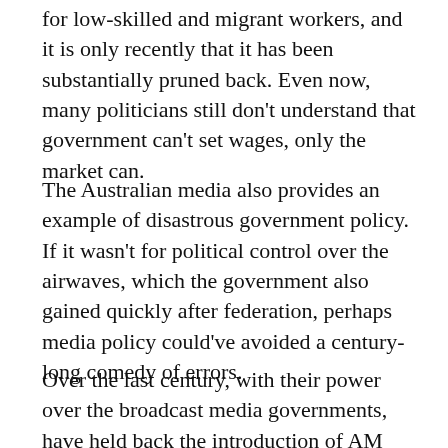for low-skilled and migrant workers, and it is only recently that it has been substantially pruned back. Even now, many politicians still don't understand that government can't set wages, only the market can.
The Australian media also provides an example of disastrous government policy. If it wasn't for political control over the airwaves, which the government also gained quickly after federation, perhaps media policy could've avoided a century-long comedy of errors.
Over the last century, with their power over the broadcast media governments, have held back the introduction of AM radio, television, FM